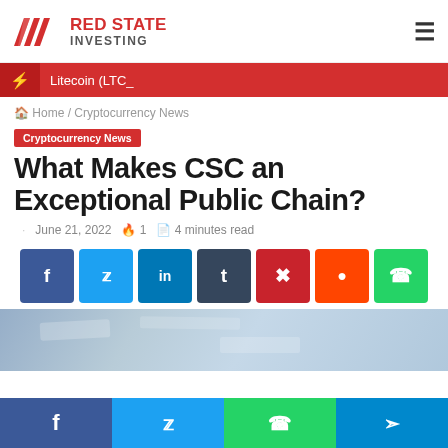Red State Investing
Litecoin (LTC_
Home / Cryptocurrency News
Cryptocurrency News
What Makes CSC an Exceptional Public Chain?
June 21, 2022  1  4 minutes read
[Figure (infographic): Social share buttons: Facebook, Twitter, LinkedIn, Tumblr, Pinterest, Reddit, WhatsApp]
[Figure (photo): Blurred keyboard/technology background image]
[Figure (infographic): Bottom sticky share bar: Facebook, Twitter, WhatsApp, Telegram]